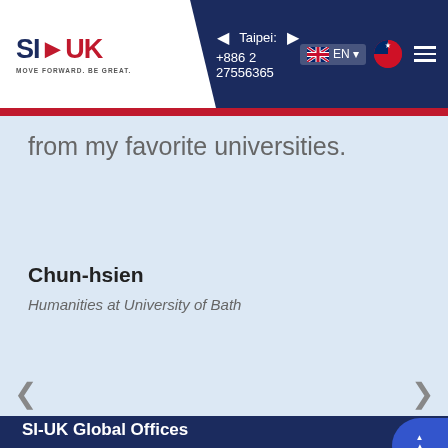Taipei: +886 2 27556365
from my favorite universities.
Chun-hsien
Humanities at University of Bath
SI-UK Global Offices
SI-UK TAIWAN
15F-1, No.6, Sec.4, XinYi Road, Daan Dist., Taipei City, Taiwan